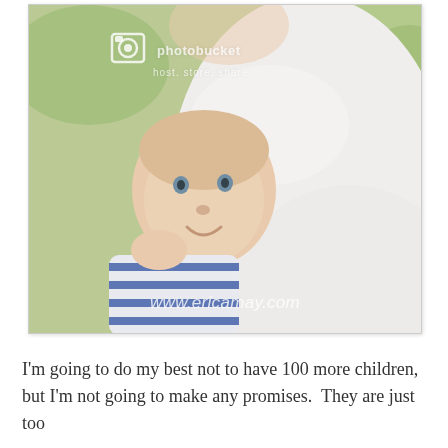[Figure (photo): A smiling baby in a striped shirt being held by an adult wearing white. The photo has a Photobucket watermark at the top and a www.ericamay.com watermark at the bottom.]
I'm going to do my best not to have 100 more children, but I'm not going to make any promises.  They are just too